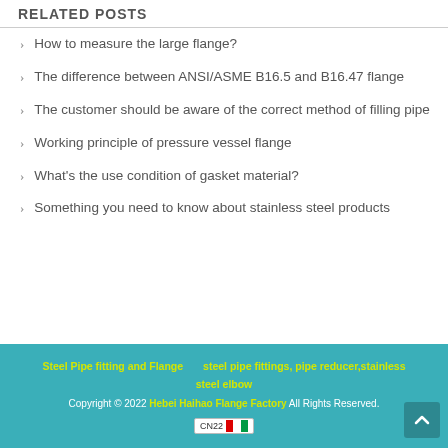RELATED POSTS
How to measure the large flange?
The difference between ANSI/ASME B16.5 and B16.47 flange
The customer should be aware of the correct method of filling pipe
Working principle of pressure vessel flange
What's the use condition of gasket material?
Something you need to know about stainless steel products
Steel Pipe fitting and Flange   steel pipe fittings, pipe reducer,stainless steel elbow
Copyright © 2022 Hebei Haihao Flange Factory All Rights Reserved.